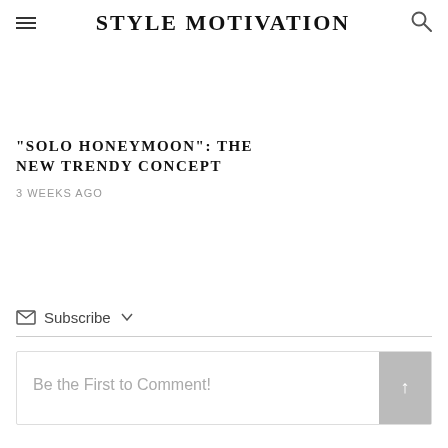STYLE MOTIVATION
"SOLO HONEYMOON": THE NEW TRENDY CONCEPT
3 WEEKS AGO
Subscribe
Be the First to Comment!